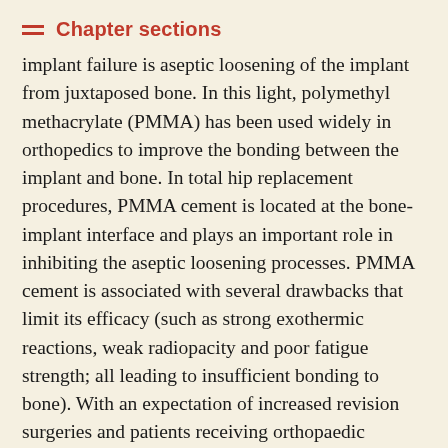Chapter sections
implant failure is aseptic loosening of the implant from juxtaposed bone. In this light, polymethyl methacrylate (PMMA) has been used widely in orthopedics to improve the bonding between the implant and bone. In total hip replacement procedures, PMMA cement is located at the bone-implant interface and plays an important role in inhibiting the aseptic loosening processes. PMMA cement is associated with several drawbacks that limit its efficacy (such as strong exothermic reactions, weak radiopacity and poor fatigue strength; all leading to insufficient bonding to bone). With an expectation of increased revision surgeries and patients receiving orthopaedic implants in the coming years, the emphasis of joint replacement research needs to be focused on improving the mechanical and biocompatibility